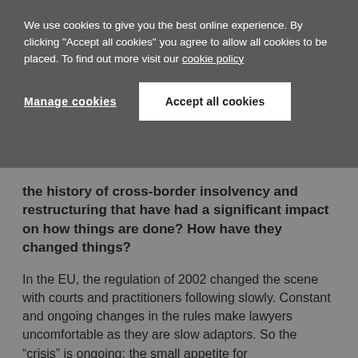We use cookies to give you the best online experience. By clicking "Accept all cookies" you agree to allow all cookies to be placed. To find out more visit our cookie policy
Manage cookies | Accept all cookies
the history of cross-border insolvency and restructuring that have had a significant impact on how things are done? How have they changed things?
In the EU, the regulation of 2002 changed the scene with courts and practitioners following slowly. Constant and ongoing changes in the rules make lawyers uncomfortable as they are slow adaptors. So the “crisis” is ongoing: the small appetite for